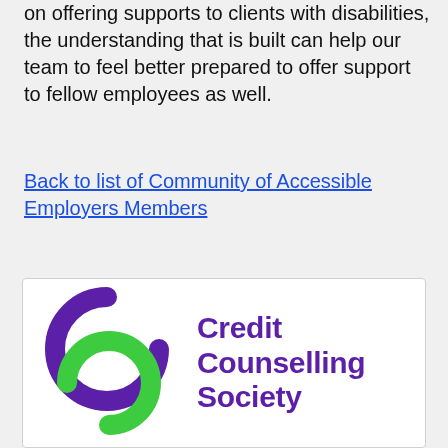on offering supports to clients with disabilities, the understanding that is built can help our team to feel better prepared to offer support to fellow employees as well.
Back to list of Community of Accessible Employers Members
[Figure (logo): Credit Counselling Society logo — two interlocking C-shapes (one purple, one green) beside the text 'Credit Counselling Society' in bold purple]